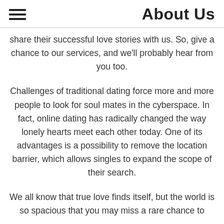About Us
share their successful love stories with us. So, give a chance to our services, and we'll probably hear from you too.
Challenges of traditional dating force more and more people to look for soul mates in the cyberspace. In fact, online dating has radically changed the way lonely hearts meet each other today. One of its advantages is a possibility to remove the location barrier, which allows singles to expand the scope of their search.
We all know that true love finds itself, but the world is so spacious that you may miss a rare chance to